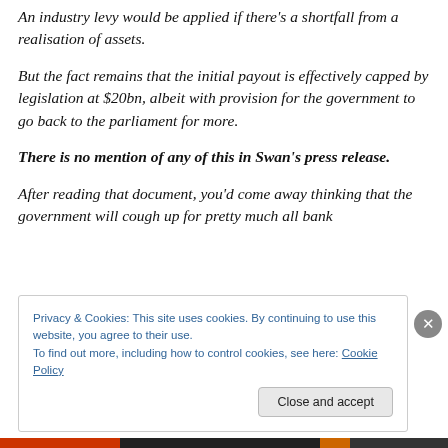An industry levy would be applied if there's a shortfall from a realisation of assets.
But the fact remains that the initial payout is effectively capped by legislation at $20bn, albeit with provision for the government to go back to the parliament for more.
There is no mention of any of this in Swan's press release.
After reading that document, you'd come away thinking that the government will cough up for pretty much all bank
Privacy & Cookies: This site uses cookies. By continuing to use this website, you agree to their use.
To find out more, including how to control cookies, see here: Cookie Policy